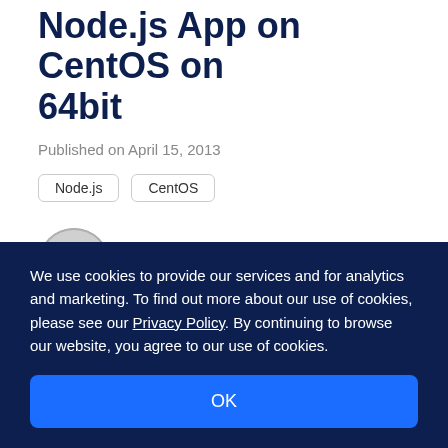Node.js App on CentOS on 64bit
Published on April 15, 2013
Node.js
CentOS
By
We use cookies to provide our services and for analytics and marketing. To find out more about our use of cookies, please see our Privacy Policy. By continuing to browse our website, you agree to our use of cookies.
OK